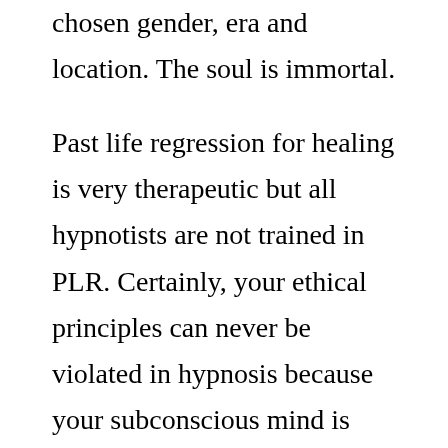chosen gender, era and location. The soul is immortal.
Past life regression for healing is very therapeutic but all hypnotists are not trained in PLR. Certainly, your ethical principles can never be violated in hypnosis because your subconscious mind is always in control and forever works for your highest good. So the cartoons of hypnosis causing someone to quack like a duck are debunked notions when true knowledge prevails.